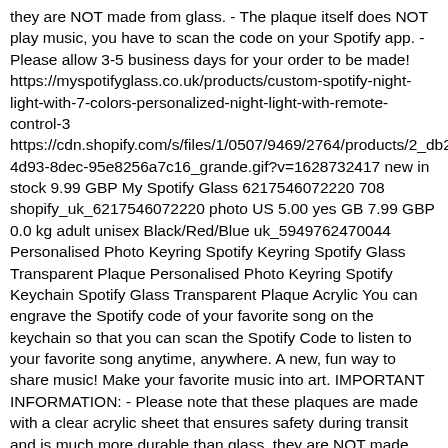they are NOT made from glass. - The plaque itself does NOT play music, you have to scan the code on your Spotify app. - Please allow 3-5 business days for your order to be made! https://myspotifyglass.co.uk/products/custom-spotify-night-light-with-7-colors-personalized-night-light-with-remote-control-3 https://cdn.shopify.com/s/files/1/0507/9469/2764/products/2_db2642a78b-4d93-8dec-95e8256a7c16_grande.gif?v=1628732417 new in stock 9.99 GBP My Spotify Glass 6217546072220 708 shopify_uk_6217546072220 photo US 5.00 yes GB 7.99 GBP 0.0 kg adult unisex Black/Red/Blue uk_5949762470044 Personalised Photo Keyring Spotify Keyring Spotify Glass Transparent Plaque Personalised Photo Keyring Spotify Keychain Spotify Glass Transparent Plaque Acrylic You can engrave the Spotify code of your favorite song on the keychain so that you can scan the Spotify Code to listen to your favorite song anytime, anywhere. A new, fun way to share music! Make your favorite music into art. IMPORTANT INFORMATION: - Please note that these plaques are made with a clear acrylic sheet that ensures safety during transit and is much more durable than glass, they are NOT made from glass. - The plaque itself does NOT play music, you have to scan the code on your Spotify app. - Please allow 3-5 business days for your order to be made! https://myspotifyglass.co.uk/products/personalized-spotify-code-music-plaque-keychain https://cdn.shopify.com/s/files/1/0507/9469/2764/products/SpotifyKe v=1634107419 new in stock 9.99 GBP My Spotify Glass